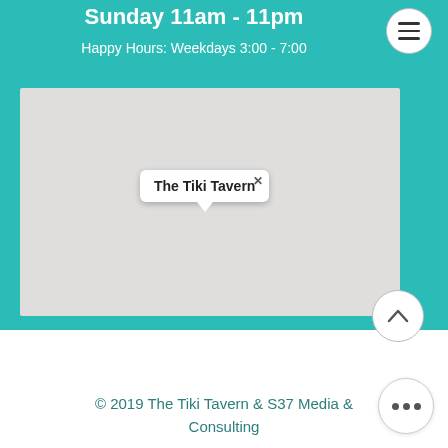Sunday 11am - 11pm
Happy Hours: Weekdays 3:00 - 7:00
[Figure (map): A map screenshot showing a location pin labeled 'The Tiki Tavern' with a tooltip popup. The map background is light gray.]
© 2019  The Tiki Tavern & S37 Media & Consulting